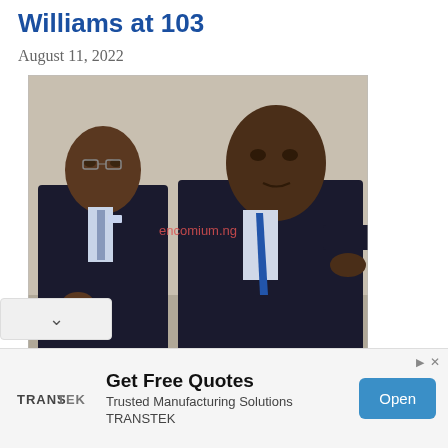Williams at 103
August 11, 2022
[Figure (photo): Two men in dark suits at an event. The man on the right is an elderly gentleman in a blue tie. Watermark reads 'encomium.ng'.]
President Muhammadu Buhari joins family and friends of renowned accountant, Chief
Get Free Quotes
Trusted Manufacturing Solutions
TRANSTEK